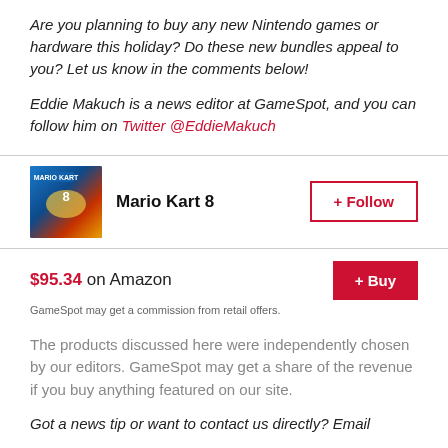Are you planning to buy any new Nintendo games or hardware this holiday? Do these new bundles appeal to you? Let us know in the comments below!
Eddie Makuch is a news editor at GameSpot, and you can follow him on Twitter @EddieMakuch
[Figure (screenshot): Mario Kart 8 game card with cover image, title, and Follow button]
$95.34 on Amazon
GameSpot may get a commission from retail offers.
The products discussed here were independently chosen by our editors. GameSpot may get a share of the revenue if you buy anything featured on our site.
Got a news tip or want to contact us directly? Email